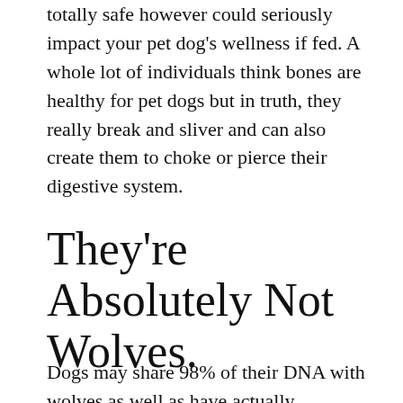totally safe however could seriously impact your pet dog's wellness if fed. A whole lot of individuals think bones are healthy for pet dogs but in truth, they really break and sliver and can also create them to choke or pierce their digestive system.
They're Absolutely Not Wolves.
Dogs may share 98% of their DNA with wolves as well as have actually descended from wolves, yet